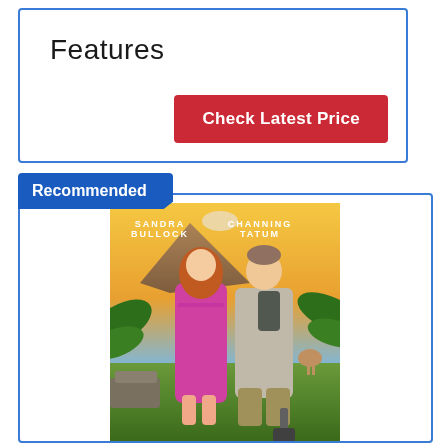Features
Check Latest Price
Recommended
[Figure (photo): Movie poster for The Lost City featuring Sandra Bullock and Channing Tatum in a jungle adventure setting. Sandra Bullock is wearing a pink sequined dress and Channing Tatum is wearing a gray t-shirt with a backpack. Text reads 'SANDRA BULLOCK CHANNING TATUM' at the top.]